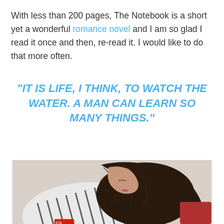With less than 200 pages, The Notebook is a short yet a wonderful romance novel and I am so glad I read it once and then, re-read it. I would like to do that more often.
"IT IS LIFE, I THINK, TO WATCH THE WATER. A MAN CAN LEARN SO MANY THINGS."
[Figure (photo): A woman with long dark hair wearing a striped white and black shirt, looking downward, reading a book.]